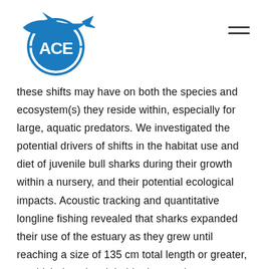[Logo: ACE shark organization icon] [Hamburger menu icon]
these shifts may have on both the species and ecosystem(s) they reside within, especially for large, aquatic predators. We investigated the potential drivers of shifts in the habitat use and diet of juvenile bull sharks during their growth within a nursery, and their potential ecological impacts. Acoustic tracking and quantitative longline fishing revealed that sharks expanded their use of the estuary as they grew until reaching a size of 135 cm total length or greater, at which time they inhabited coastal waters adjacent to the Gulf of Mexico. Stable isotope data suggested that bull shark diet also changed with size, and their role within the trophic systems of the estuary shifted from that of a freshwater predator to a marine predator. Environmental